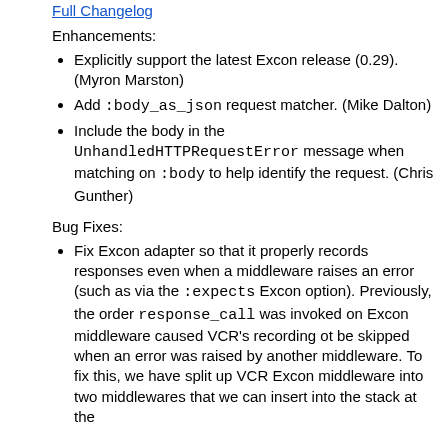Full Changelog
Enhancements:
Explicitly support the latest Excon release (0.29). (Myron Marston)
Add :body_as_json request matcher. (Mike Dalton)
Include the body in the UnhandledHTTPRequestError message when matching on :body to help identify the request. (Chris Gunther)
Bug Fixes:
Fix Excon adapter so that it properly records responses even when a middleware raises an error (such as via the :expects Excon option). Previously, the order response_call was invoked on Excon middleware caused VCR's recording ot be skipped when an error was raised by another middleware. To fix this, we have split up VCR Excon middleware into two middlewares that we can insert into the stack at the